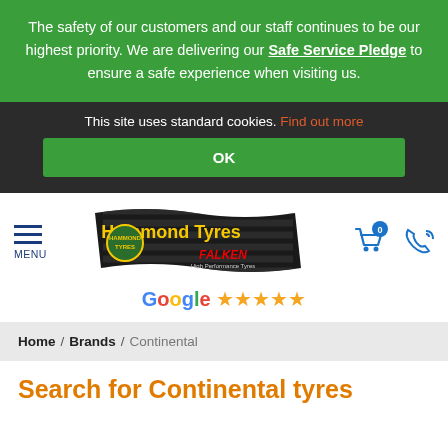The safety of our customers and our staff continues to be our highest priority. We are delivering our Safe Service Pledge to ensure a safe experience when visiting us.
This site uses standard cookies. Find out more
OK
[Figure (logo): Hammond Tyres logo with Falken branding on a tyre tread background]
Google ★★★★★
Home / Brands / Continental
Search for Continental tyres